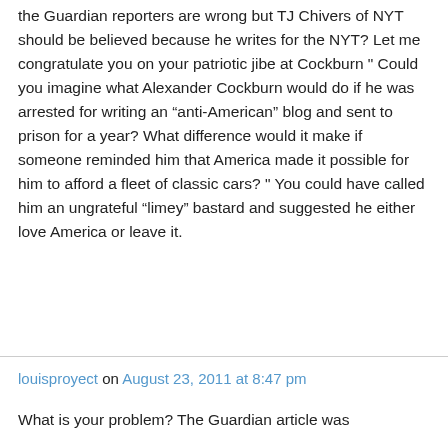the Guardian reporters are wrong but TJ Chivers of NYT should be believed because he writes for the NYT? Let me congratulate you on your patriotic jibe at Cockburn " Could you imagine what Alexander Cockburn would do if he was arrested for writing an “anti-American” blog and sent to prison for a year? What difference would it make if someone reminded him that America made it possible for him to afford a fleet of classic cars? " You could have called him an ungrateful “limey” bastard and suggested he either love America or leave it.
louisproyect on August 23, 2011 at 8:47 pm
What is your problem? The Guardian article was